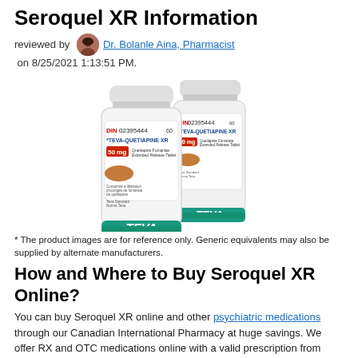Seroquel XR Information
reviewed by Dr. Bolanle Aina, Pharmacist on 8/25/2021 1:13:51 PM.
[Figure (photo): Two white plastic pill bottles labeled TEVA-QUETIAPINE XR 50mg, DIN 02395444, 60 tablets, with TEVA branding in teal at the bottom.]
* The product images are for reference only. Generic equivalents may also be supplied by alternate manufacturers.
How and Where to Buy Seroquel XR Online?
You can buy Seroquel XR online and other psychiatric medications through our Canadian International Pharmacy at huge savings. We offer RX and OTC medications online with a valid prescription from your doctor. At Canadian Pharmacy World, your health is our priority. You can